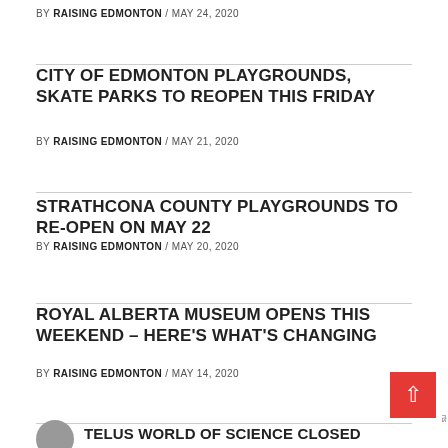BY RAISING EDMONTON / MAY 24, 2020
CITY OF EDMONTON PLAYGROUNDS, SKATE PARKS TO REOPEN THIS FRIDAY
BY RAISING EDMONTON / MAY 21, 2020
STRATHCONA COUNTY PLAYGROUNDS TO RE-OPEN ON MAY 22
BY RAISING EDMONTON / MAY 20, 2020
ROYAL ALBERTA MUSEUM OPENS THIS WEEKEND – HERE'S WHAT'S CHANGING
BY RAISING EDMONTON / MAY 14, 2020
TELUS WORLD OF SCIENCE CLOSED